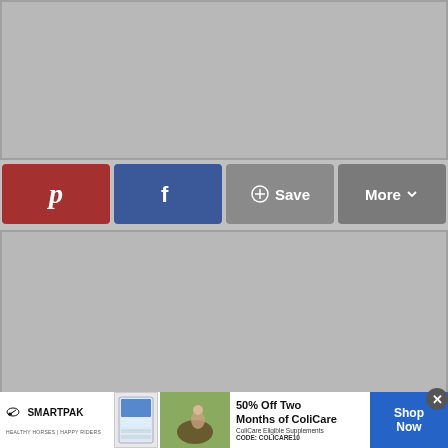[Figure (photo): Gray placeholder image area at the top of the page]
[Figure (screenshot): Social share bar with Pinterest (red), Facebook (blue), Save (gray with plus icon), and More (gray with chevron) buttons]
[Figure (screenshot): Gray content area with embedded dark video player showing play icon, reload icon, mute icon, and text 'TANNER BELL - ALITTLECRAFTINYOURDAY.COM']
[Figure (photo): Advertisement banner for SmartPak: 50% Off Two Months of ColiCare, ColiCare Eligible Supplements, CODE: COLICARE10, with Shop Now CTA button]